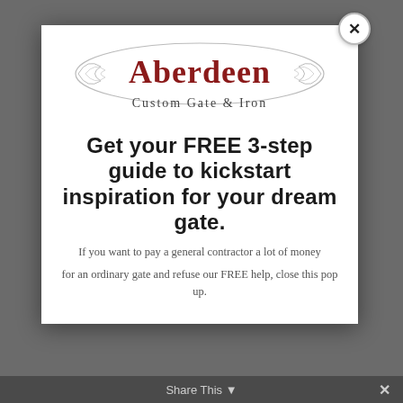[Figure (logo): Aberdeen Custom Gate & Iron logo with decorative scroll/flourish design and red gothic lettering]
Get your FREE 3-step guide to kickstart inspiration for your dream gate.
If you want to pay a general contractor a lot of money
for an ordinary gate and refuse our FREE help, close this pop up.
Share This ×